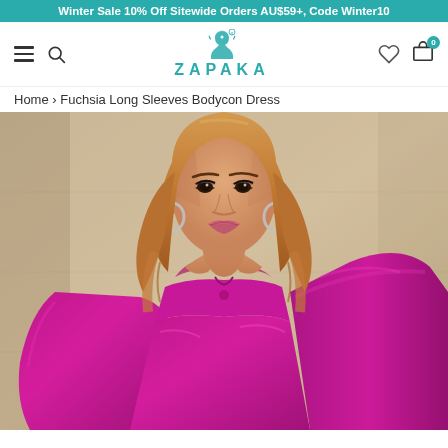Winter Sale 10% Off Sitewide Orders AU$59+, Code Winter10
[Figure (logo): ZAPAKA brand logo with decorative figure and teal text]
Home › Fuchsia Long Sleeves Bodycon Dress
[Figure (photo): Fashion model wearing a fuchsia/magenta long sleeve satin bodycon dress, posed against a beige/tan stone wall background]